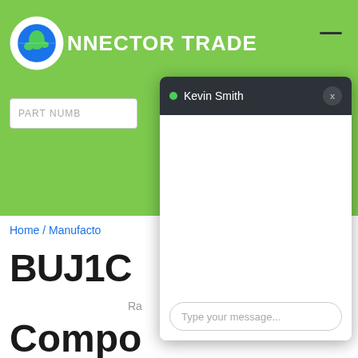[Figure (screenshot): Connector Trade website background showing green header with logo, part number search box, breadcrumb navigation 'Home / Manufactu...', product title 'BUJ1C...' and 'Compo...' text, with a chat popup overlay showing 'Kevin Smith' user, online status indicator, close button, empty message area, and 'Type your message...' input field.]
NNECTOR TRADE
PART NUMB
Home / Manufacto
BUJ1C
Ra
Compo
Kevin Smith
Type your message...